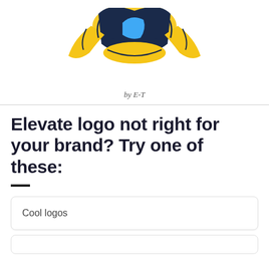[Figure (illustration): Partial view of a colorful cartoon character/mascot illustration — shows yellow, blue, and dark navy elements, appears to be a character holding something, partially cropped at top of page]
by E-T
Elevate logo not right for your brand? Try one of these:
Cool logos